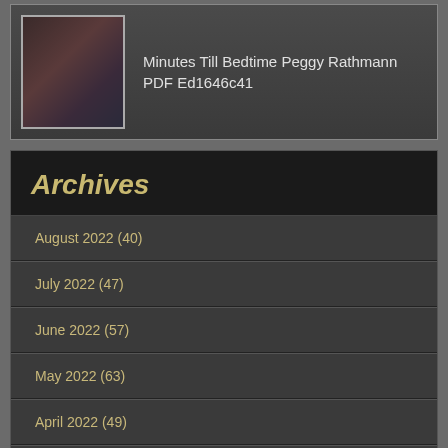Minutes Till Bedtime Peggy Rathmann PDF Ed1646c41
Archives
August 2022 (40)
July 2022 (47)
June 2022 (57)
May 2022 (63)
April 2022 (49)
March 2022 (52)